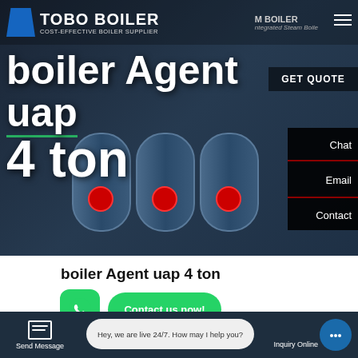[Figure (screenshot): Tobo Boiler website hero banner with boiler machinery background image, company logo, navigation bar, and large headline text 'boiler Agent uap 4 ton']
boiler Agent uap 4 ton
Contact us now!
HOT NEWS
Hey, we are live 24/7. How may I help you?
Send Message
Inquiry Online